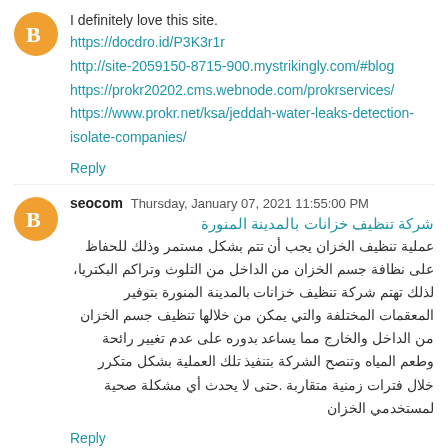I definitely love this site.
https://docdro.id/P3K3r1r
http://site-2059150-8715-900.mystrikingly.com/#blog
https://prokr20202.cms.webnode.com/prokrservices/
https://www.prokr.net/ksa/jeddah-water-leaks-detection-isolate-companies/
Reply
seocom  Thursday, January 07, 2021 11:55:00 PM
شركة تنظيف خزانات بالمدينة المنورة
عملية تنظيف الخزان يجب أن تتم بشكل مستمر وذلك للحفاظ على نظافة جسم الخزان من الداخل من التلوث وتراكم البكتريا، لذلك تهتم شركة تنظيف خزانات بالمدينة المنورة بتوفير المعقمات المختلفة والتي يمكن من خلالها تنظيف جسم الخزان من الداخل والخارج مما يساعد بدوره على عدم تغيير رائحة وطعم المياه وتنصح الشركة بتنفيذ تلك العملية بشكل متكرر خلال فترات زمنية متقاربة حتى لا يحدث أي مشكلة صحية لمستخدمي الخزان.
Reply